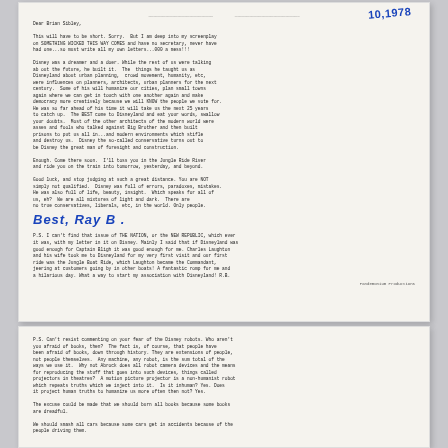Letter dated 10, 1978 from Ray Bradbury to Brian Sibley. Typed letter discussing Disney as a dreamer and visionary, Disneyland, the Jungle Ride, and comments on Disney's so-called conservatism. Includes handwritten signature 'Ray B.' and a P.S. regarding The Nation or New Republic article.
P.S. Can't resist commenting on your fear of the Disney robots. Who aren't you afraid of books, then? The fact is, of course, that people have been afraid of books, down through history. They are extensions of people, not people themselves. Any machine, any robot, is the sum total of the ways we use it. Why not Abrock does all robot camera devices and the means for reproducing the stuff that goes into such devices, things called projectors in theatres? A motion picture projector is a non-humanist robot which repeats truths which we inject into it. Is it inhuman? Yes. Does it project human truths to humanize us more often then not? Yes. The excuse could be made that we should burn all books because some books are dreadful. We should smash all cars because some cars get in accidents because of the people driving them. We should burn down all the theatres in the world because some films...